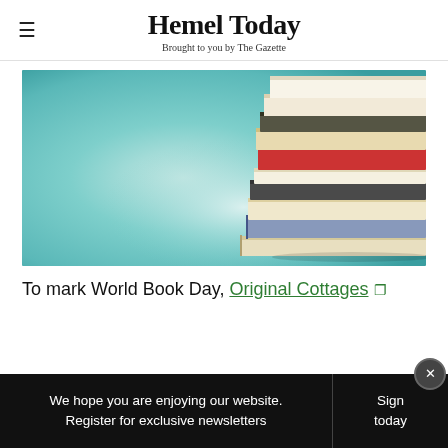Hemel Today
Brought to you by The Gazette
[Figure (photo): A stack of books piled high on a surface, with a blurred teal/blue-green background. Books are various colors including red, dark grey, beige, and blue.]
To mark World Book Day, Original Cottages
We hope you are enjoying our website. Register for exclusive newsletters
Sign today